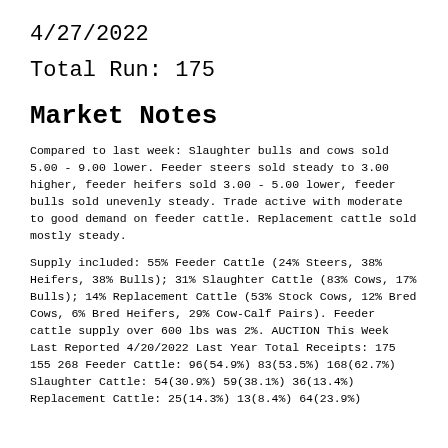4/27/2022
Total Run: 175
Market Notes
Compared to last week: Slaughter bulls and cows sold 5.00 - 9.00 lower. Feeder steers sold steady to 3.00 higher, feeder heifers sold 3.00 - 5.00 lower, feeder bulls sold unevenly steady. Trade active with moderate to good demand on feeder cattle. Replacement cattle sold mostly steady.
Supply included: 55% Feeder Cattle (24% Steers, 38% Heifers, 38% Bulls); 31% Slaughter Cattle (83% Cows, 17% Bulls); 14% Replacement Cattle (53% Stock Cows, 12% Bred Cows, 6% Bred Heifers, 29% Cow-Calf Pairs). Feeder cattle supply over 600 lbs was 2%. AUCTION This Week Last Reported 4/20/2022 Last Year Total Receipts: 175 155 268 Feeder Cattle: 96(54.9%) 83(53.5%) 168(62.7%) Slaughter Cattle: 54(30.9%) 59(38.1%) 36(13.4%) Replacement Cattle: 25(14.3%) 13(8.4%) 64(23.9%)